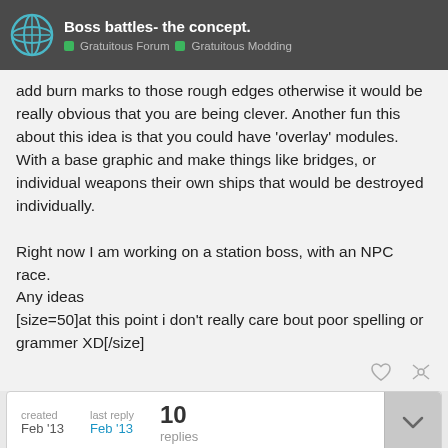Boss battles- the concept. | Gratuitous Forum | Gratuitous Modding
add burn marks to those rough edges otherwise it would be really obvious that you are being clever. Another fun this about this idea is that you could have 'overlay' modules. With a base graphic and make things like bridges, or individual weapons their own ships that would be destroyed individually.

Right now I am working on a station boss, with an NPC race.
Any ideas
[size=50]at this point i don't really care bout poor spelling or grammer XD[/size]
created Feb '13 | last reply Feb '13 | 10 replies
1 / 11